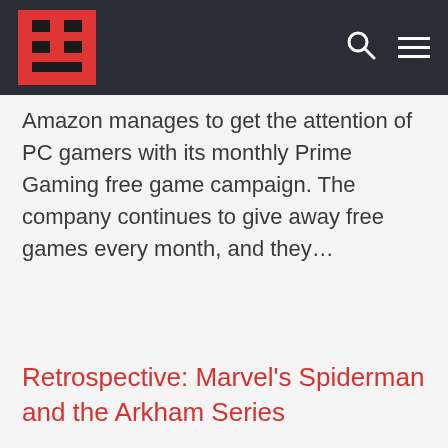[Navigation bar with logo, search icon, and menu icon]
Amazon manages to get the attention of PC gamers with its monthly Prime Gaming free game campaign. The company continues to give away free games every month, and they…
Retrospective: Marvel's Spiderman and the Arkham Series